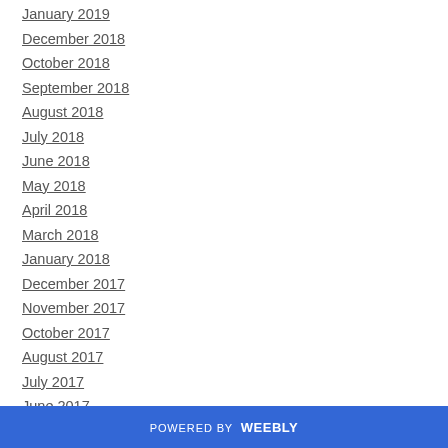January 2019
December 2018
October 2018
September 2018
August 2018
July 2018
June 2018
May 2018
April 2018
March 2018
January 2018
December 2017
November 2017
October 2017
August 2017
July 2017
June 2017
POWERED BY weebly